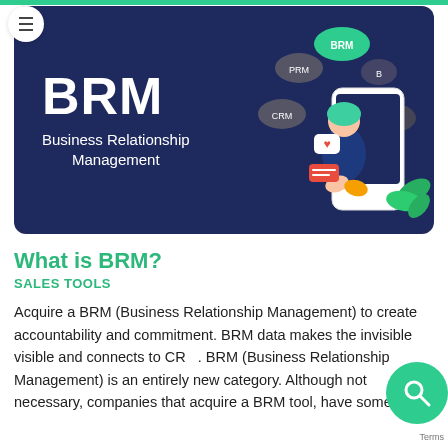[Figure (illustration): Hero banner with dark navy background showing 'BRM Business Relationship Management' text on left and an illustrated woman sitting in front of a smartphone with floating tag bubbles labeled BRM, PRM, B, CRM, SSD on the right]
What is BRM?
SALES TOOLS
Acquire a BRM (Business Relationship Management) to create accountability and commitment. BRM data makes the invisible visible and connects to CRM. BRM (Business Relationship Management) is an entirely new category. Although not necessary, companies that acquire a BRM tool, have some kind